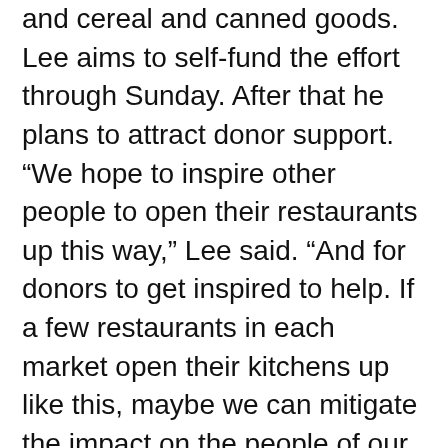and cereal and canned goods. Lee aims to self-fund the effort through Sunday. After that he plans to attract donor support. “We hope to inspire other people to open their restaurants up this way,” Lee said. “And for donors to get inspired to help. If a few restaurants in each market open their kitchens up like this, maybe we can mitigate the impact on the people of our industry.”
[Figure (photo): A close-up photo of a wooden door or panel with a recessed rectangular frame, showing warm brown wood grain tones.]